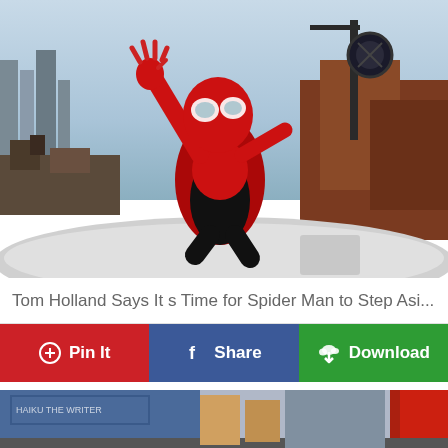[Figure (photo): Spider-Man in red and black suit posing with arms raised in an action scene over a futuristic cityscape with blue sky and ruins in background]
Tom Holland Says It s Time for Spider Man to Step Asi...
[Figure (infographic): Three social sharing buttons: Pin It (Pinterest, red), Share (Facebook, blue), Download (green with cloud icon)]
[Figure (photo): Partial view of a second image at the bottom showing Spider-Man on a city street]